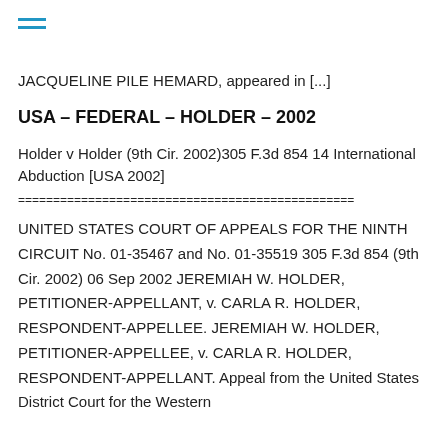≡ (menu icon)
JACQUELINE PILE HEMARD, appeared in [...]
USA – FEDERAL – HOLDER – 2002
Holder v Holder (9th Cir. 2002)305 F.3d 854 14 International Abduction [USA 2002]
================================================
UNITED STATES COURT OF APPEALS FOR THE NINTH CIRCUIT No. 01-35467 and No. 01-35519 305 F.3d 854 (9th Cir. 2002) 06 Sep 2002 JEREMIAH W. HOLDER, PETITIONER-APPELLANT, v. CARLA R. HOLDER, RESPONDENT-APPELLEE. JEREMIAH W. HOLDER, PETITIONER-APPELLEE, v. CARLA R. HOLDER, RESPONDENT-APPELLANT. Appeal from the United States District Court for the Western